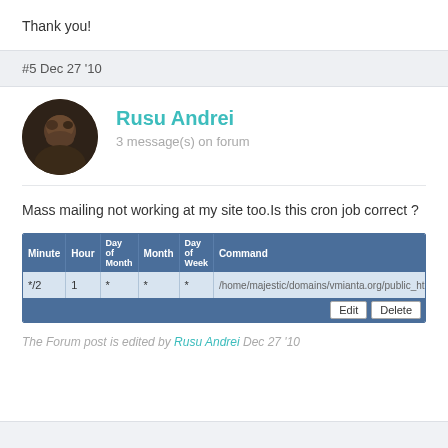Thank you!
#5 Dec 27 '10
[Figure (photo): Avatar/profile photo of Rusu Andrei - dark circular photo]
Rusu Andrei
3 message(s) on forum
Mass mailing not working at my site too.Is this cron job correct ?
[Figure (screenshot): Screenshot of a cron job table showing Minute, Hour, Day of Month, Month, Day of Week, Command columns. Row: */2, 1, *, *, *, /home/majestic/domains/vmianta.org/public_html/ow_cron/run.php with Edit and Delete buttons.]
The Forum post is edited by Rusu Andrei Dec 27 '10